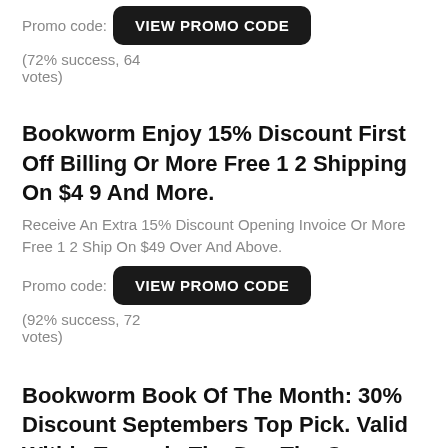Promo code:  VIEW PROMO CODE  (72% success, 64 votes)
Bookworm Enjoy 15% Discount First Off Billing Or More Free 1 2 Shipping On $4 9 And More.
Receive An Extra 15% Discount Opening Invoice Or More Free 1 2 Ship On $49 Over And Above.
Promo code:  VIEW PROMO CODE  (92% success, 72 votes)
Bookworm Book Of The Month: 30% Discount Septembers Top Pick. Valid Withly Towards The Day The Crayons Quit. Used W.
Book Of The Month: 30% Discount Septembers Top Pick